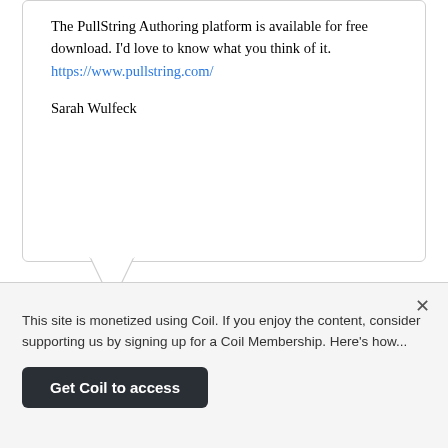The PullString Authoring platform is available for free download. I'd love to know what you think of it. https://www.pullstring.com/
Sarah Wulfeck
GOT SOMETHING TO SAY?
We have turned off comments, but you can see what folks had to say before we did so.
This site is monetized using Coil. If you enjoy the content, consider supporting us by signing up for a Coil Membership. Here's how...
Get Coil to access